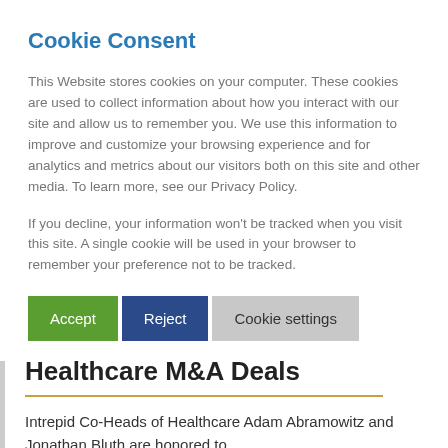Cookie Consent
This Website stores cookies on your computer. These cookies are used to collect information about how you interact with our site and allow us to remember you. We use this information to improve and customize your browsing experience and for analytics and metrics about our visitors both on this site and other media. To learn more, see our Privacy Policy.
If you decline, your information won't be tracked when you visit this site. A single cookie will be used in your browser to remember your preference not to be tracked.
Accept | Reject | Cookie settings
Healthcare M&A Deals
Intrepid Co-Heads of Healthcare Adam Abramowitz and Jonathan Bluth are honored to